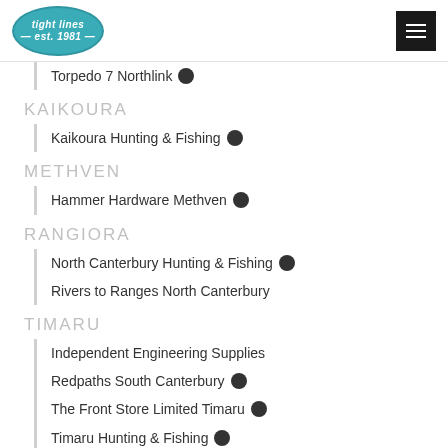tight lines est. 1981
Torpedo 7 Northlink
KAIKOURA
Kaikoura Hunting & Fishing
METHVEN
Hammer Hardware Methven
RANGIORA
North Canterbury Hunting & Fishing
Rivers to Ranges North Canterbury
TIMARU
Independent Engineering Supplies
Redpaths South Canterbury
The Front Store Limited Timaru
Timaru Hunting & Fishing
WAIMATE